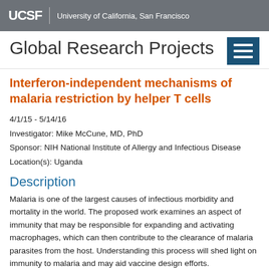UCSF University of California, San Francisco
Global Research Projects
Interferon-independent mechanisms of malaria restriction by helper T cells
4/1/15 - 5/14/16
Investigator: Mike McCune, MD, PhD
Sponsor: NIH National Institute of Allergy and Infectious Disease
Location(s): Uganda
Description
Malaria is one of the largest causes of infectious morbidity and mortality in the world. The proposed work examines an aspect of immunity that may be responsible for expanding and activating macrophages, which can then contribute to the clearance of malaria parasites from the host. Understanding this process will shed light on immunity to malaria and may aid vaccine design efforts.